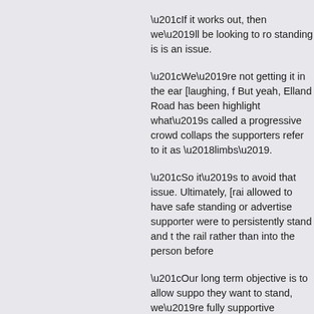“If it works out, then we’ll be looking to ro standing is is an issue.
“We’re not getting it in the ear [laughing, f But yeah, Elland Road has been highlight what’s called a progressive crowd collaps the supporters refer to it as ‘limbs’.
“So it’s to avoid that issue. Ultimately, [rai allowed to have safe standing or advertise supporter were to persistently stand and t the rail rather than into the person before
“Our long term objective is to allow suppo they want to stand, we’re fully supportive certainly in the new stadium, we would ha and standing so that supporters can enjoy
That takes us from the coming few weeks Elland Road. Details are being kept publi what’s happening on the pitch with glossy First, the team has stay in the Premier Le
“If we stay up this year, then construction says Kinnear. “And that process is planni commitment you need before you start co